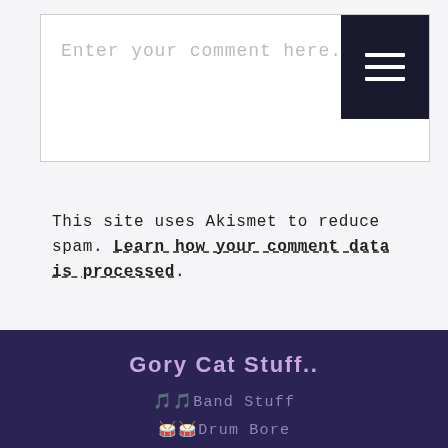Enter your comment here...
This site uses Akismet to reduce spam. Learn how your comment data is processed.
Gory Cat Stuff..
🎵🎵Band Stuff
🥁🥁Drum Bore